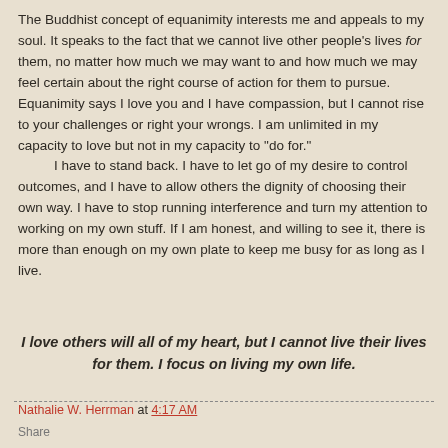The Buddhist concept of equanimity interests me and appeals to my soul. It speaks to the fact that we cannot live other people's lives for them, no matter how much we may want to and how much we may feel certain about the right course of action for them to pursue. Equanimity says I love you and I have compassion, but I cannot rise to your challenges or right your wrongs. I am unlimited in my capacity to love but not in my capacity to "do for."
    I have to stand back. I have to let go of my desire to control outcomes, and I have to allow others the dignity of choosing their own way. I have to stop running interference and turn my attention to working on my own stuff. If I am honest, and willing to see it, there is more than enough on my own plate to keep me busy for as long as I live.
I love others will all of my heart, but I cannot live their lives for them. I focus on living my own life.
Nathalie W. Herrman at 4:17 AM
Share